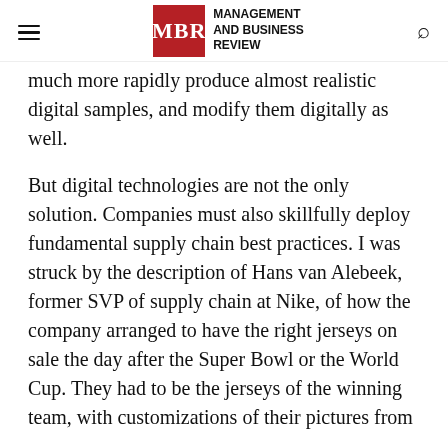MBR | MANAGEMENT AND BUSINESS REVIEW
much more rapidly produce almost realistic digital samples, and modify them digitally as well.
But digital technologies are not the only solution. Companies must also skillfully deploy fundamental supply chain best practices. I was struck by the description of Hans van Alebeek, former SVP of supply chain at Nike, of how the company arranged to have the right jerseys on sale the day after the Super Bowl or the World Cup. They had to be the jerseys of the winning team, with customizations of their pictures from